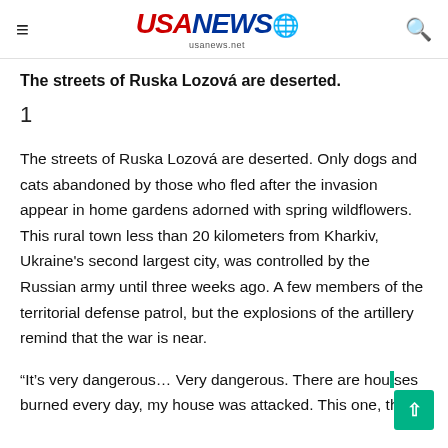USA NEWS usanews.net
The streets of Ruska Lozová are deserted.
1
The streets of Ruska Lozová are deserted. Only dogs and cats abandoned by those who fled after the invasion appear in home gardens adorned with spring wildflowers. This rural town less than 20 kilometers from Kharkiv, Ukraine's second largest city, was controlled by the Russian army until three weeks ago. A few members of the territorial defense patrol, but the explosions of the artillery remind that the war is near.
“It’s very dangerous… Very dangerous. There are houses burned every day, my house was attacked. This one, this